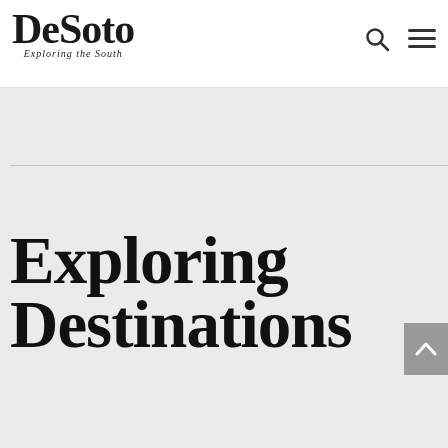DeSoto — Exploring the South
Exploring Destinations